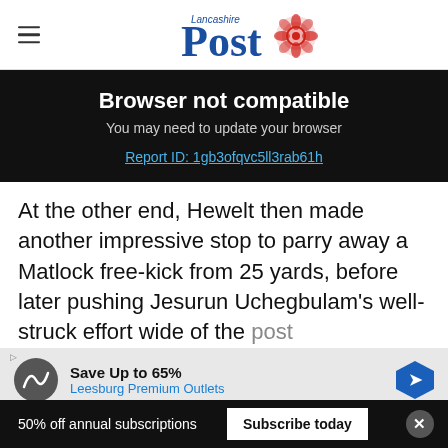Lancashire Post
Browser not compatible
You may need to update your browser
Report ID: 1gb3ofqvc5ll3rab61h
At the other end, Hewelt then made another impressive stop to parry away a Matlock free-kick from 25 yards, before later pushing Jesurun Uchegbulam's well-struck effort wide of the post
[Figure (infographic): Advertisement banner: Save Up to 65% Leesburg Premium Outlets]
Matlock were then awarded a penalty in
50% off annual subscriptions   Subscribe today